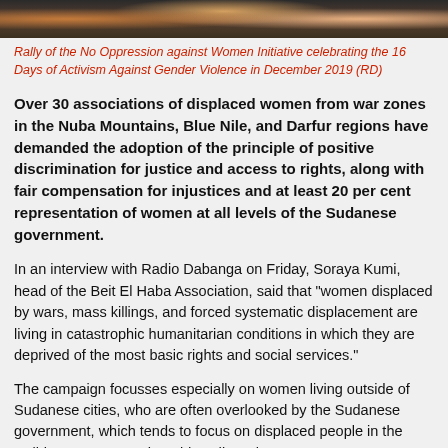[Figure (photo): Cropped photo strip showing people at a rally, colorful clothing visible]
Rally of the No Oppression against Women Initiative celebrating the 16 Days of Activism Against Gender Violence in December 2019 (RD)
Over 30 associations of displaced women from war zones in the Nuba Mountains, Blue Nile, and Darfur regions have demanded the adoption of the principle of positive discrimination for justice and access to rights, along with fair compensation for injustices and at least 20 per cent representation of women at all levels of the Sudanese government.
In an interview with Radio Dabanga on Friday, Soraya Kumi, head of the Beit El Haba Association, said that "women displaced by wars, mass killings, and forced systematic displacement are living in catastrophic humanitarian conditions in which they are deprived of the most basic rights and social services."
The campaign focusses especially on women living outside of Sudanese cities, who are often overlooked by the Sudanese government, which tends to focus on displaced people in the well-known camps, she told Radio Dabanga.